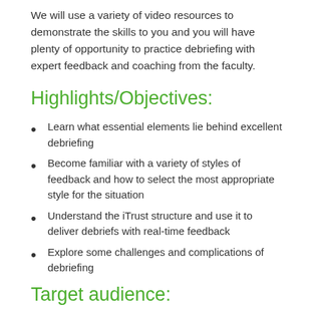We will use a variety of video resources to demonstrate the skills to you and you will have plenty of opportunity to practice debriefing with expert feedback and coaching from the faculty.
Highlights/Objectives:
Learn what essential elements lie behind excellent debriefing
Become familiar with a variety of styles of feedback and how to select the most appropriate style for the situation
Understand the iTrust structure and use it to deliver debriefs with real-time feedback
Explore some challenges and complications of debriefing
Target audience: